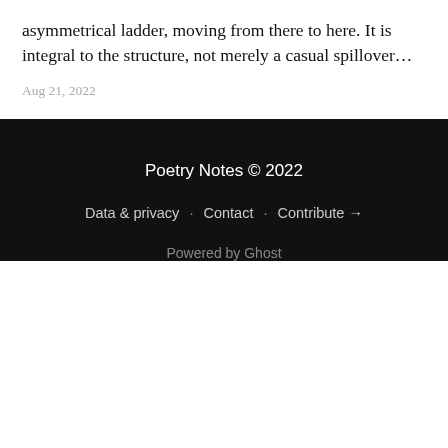asymmetrical ladder, moving from there to here. It is integral to the structure, not merely a casual spillover…
Aug 21, 2022
Poetry Notes © 2022
Data & privacy · Contact · Contribute →
Powered by Ghost